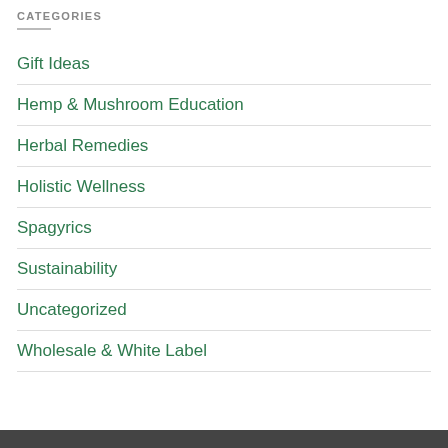CATEGORIES
Gift Ideas
Hemp & Mushroom Education
Herbal Remedies
Holistic Wellness
Spagyrics
Sustainability
Uncategorized
Wholesale & White Label